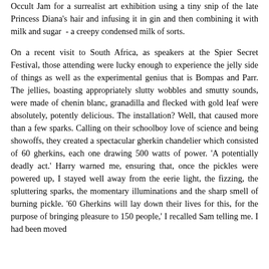Occult Jam for a surrealist art exhibition using a tiny snip of the late Princess Diana's hair and infusing it in gin and then combining it with milk and sugar - a creepy condensed milk of sorts.
On a recent visit to South Africa, as speakers at the Spier Secret Festival, those attending were lucky enough to experience the jelly side of things as well as the experimental genius that is Bompas and Parr. The jellies, boasting appropriately slutty wobbles and smutty sounds, were made of chenin blanc, granadilla and flecked with gold leaf were absolutely, potently delicious. The installation? Well, that caused more than a few sparks. Calling on their schoolboy love of science and being showoffs, they created a spectacular gherkin chandelier which consisted of 60 gherkins, each one drawing 500 watts of power. 'A potentially deadly act.' Harry warned me, ensuring that, once the pickles were powered up, I stayed well away from the eerie light, the fizzing, the spluttering sparks, the momentary illuminations and the sharp smell of burning pickle. '60 Gherkins will lay down their lives for this, for the purpose of bringing pleasure to 150 people,' I recalled Sam telling me. I had been moved